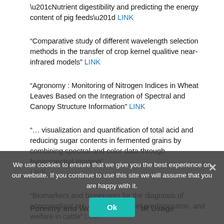“Nutrient digestibility and predicting the energy content of pig feeds” LINK
“Comparative study of different wavelength selection methods in the transfer of crop kernel qualitive near-infrared models” LINK
“Agronomy : Monitoring of Nitrogen Indices in Wheat Leaves Based on the Integration of Spectral and Canopy Structure Information” LINK
“… visualization and quantification of total acid and reducing sugar contents in fermented grains by combining spectral and color data through hyperspectral imaging” LINK
“Biomarkers and biosensors for the diagnosis of noncompliant pH, dark cutting beef predisposition, and welfare in cattle” LINK
We use cookies to ensure that we give you the best experience on our website. If you continue to use this site we will assume that you are happy with it.
Forestry and Wood Industry NIR Usage